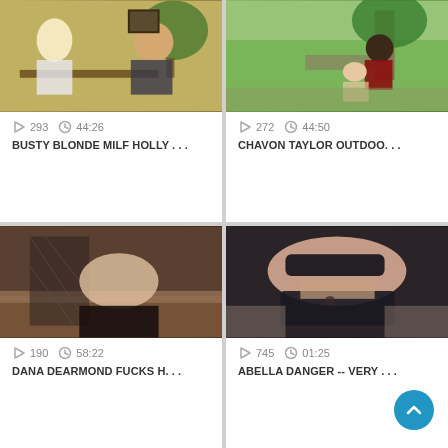[Figure (photo): Video thumbnail 1: indoor scene with blonde woman and man at table with plants]
293   44:26
BUSTY BLONDE MILF HOLLY . . .
[Figure (photo): Video thumbnail 2: outdoor scene with two people near trees]
272   44:50
CHAVON TAYLOR OUTDOO. . .
[Figure (photo): Video thumbnail 3: indoor scene with woman in fishnet stockings]
190   58:22
DANA DEARMOND FUCKS H. . .
[Figure (photo): Video thumbnail 4: close-up of woman with blindfold in black bra]
745   01:25
ABELLA DANGER -- VERY . . .